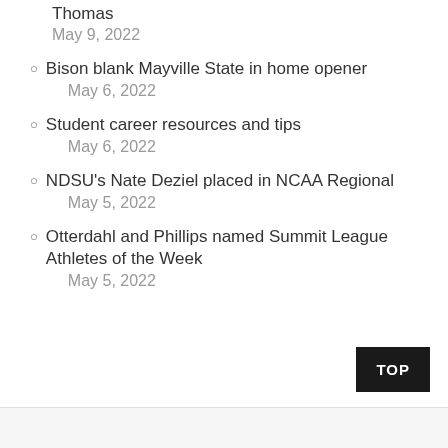Thomas
May 9, 2022
Bison blank Mayville State in home opener
May 6, 2022
Student career resources and tips
May 6, 2022
NDSU's Nate Deziel placed in NCAA Regional
May 5, 2022
Otterdahl and Phillips named Summit League Athletes of the Week
May 5, 2022